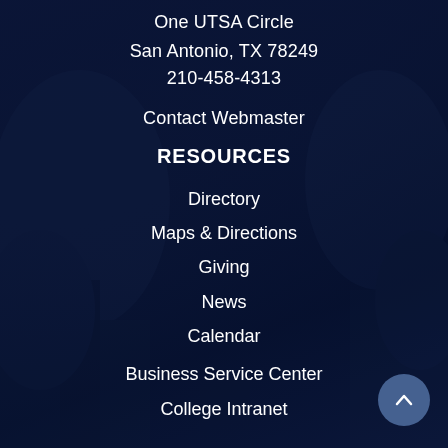One UTSA Circle
San Antonio, TX 78249
210-458-4313
Contact Webmaster
RESOURCES
Directory
Maps & Directions
Giving
News
Calendar
Business Service Center
College Intranet